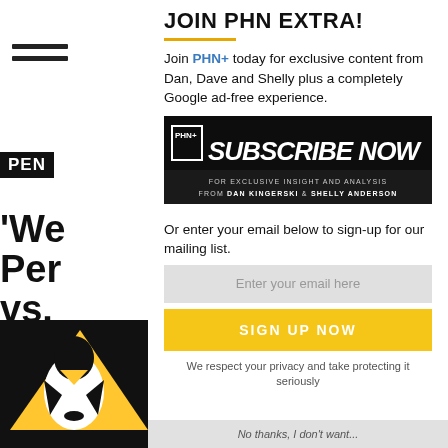JOIN PHN EXTRA!
Join PHN+ today for exclusive content from Dan, Dave and Shelly plus a completely Google ad-free experience.
[Figure (infographic): Subscribe Now banner for PHN+ with text: FOR EXCLUSIVE INSIGHT AND ANALYSIS FROM DAN KINGERSKI & SHELLY ANDERSON]
Or enter your email below to sign-up for our mailing list.
Enter your email here
SIGN UP NOW
We respect your privacy and take protecting it seriously
No thanks, I don't want...